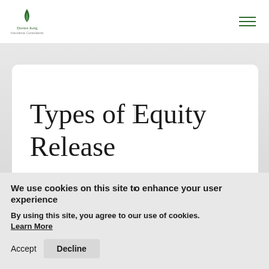[Figure (logo): Davies Keig Insurance Consultants logo with green leaf/flame icon and company name text below]
Types of Equity Release
We use cookies on this site to enhance your user experience
By using this site, you agree to our use of cookies. Learn More
Accept  Decline